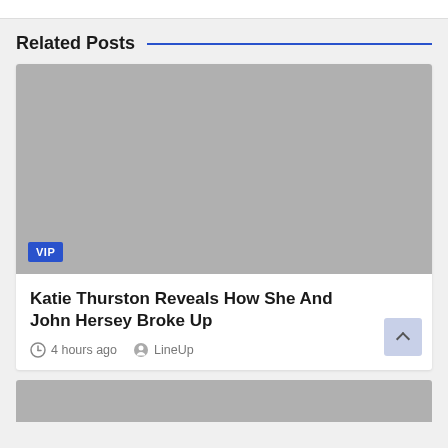Related Posts
[Figure (photo): Grey placeholder image with a blue VIP badge in the bottom-left corner]
Katie Thurston Reveals How She And John Hersey Broke Up
4 hours ago  LineUp